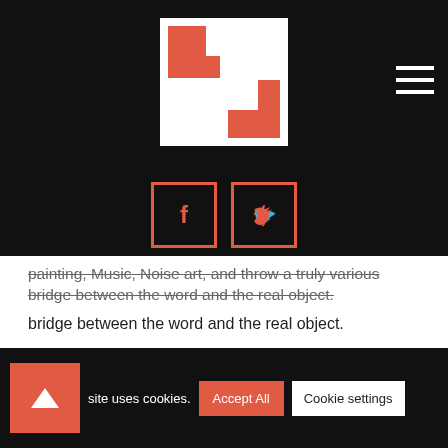[Figure (logo): Red and white geometric logo made of rectangles on black background with hamburger menu icon]
[Figure (logo): Social media icons: Facebook (f) and Twitter (bird) in red-bordered square boxes on black background]
painting, Music, Noise art, and throw a truly various bridge between the word and the real object.
Our films will be:
Cinematic analogies that use reality directly as one of the two elements of the analogy. Example: If we should want to express the anguished state of one of our protagonists, instead of describing it in its various phases of
site uses cookies.
Accept All
Cookie settings